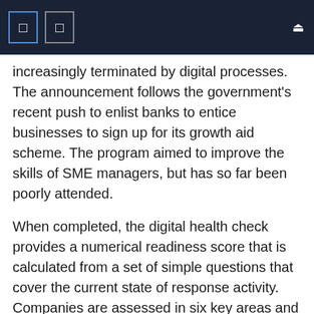increasingly terminated by digital processes. The announcement follows the government's recent push to enlist banks to entice businesses to sign up for its growth aid scheme. The program aimed to improve the skills of SME managers, but has so far been poorly attended.
When completed, the digital health check provides a numerical readiness score that is calculated from a set of simple questions that cover the current state of response activity. Companies are assessed in six key areas and are assigned a digital score for each area and an overall digital readiness score. The tool then recommends specific solutions tailored to each individual business need identified by the health check.
Cashplus Bank is the first UK digital bank to offer this service which will be accessible to any SME via the bank's website.